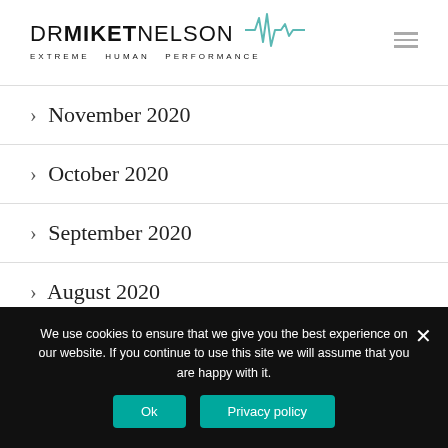[Figure (logo): Dr Mike T Nelson Extreme Human Performance logo with EKG waveform]
> November 2020
> October 2020
> September 2020
> August 2020
> July 2020
We use cookies to ensure that we give you the best experience on our website. If you continue to use this site we will assume that you are happy with it.